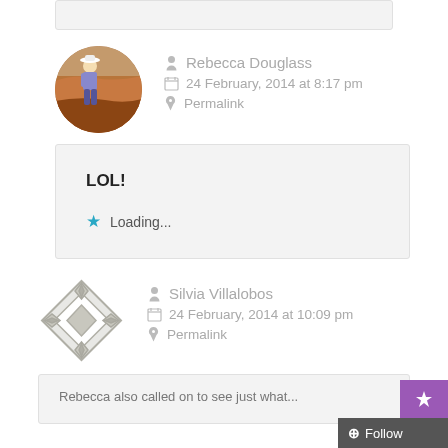[Figure (other): Top gray bar/box (partial comment block top)]
Rebecca Douglass
24 February, 2014 at 8:17 pm
Permalink
[Figure (photo): Circular avatar photo of Rebecca Douglass hiking on red rock/canyon]
LOL!
Loading...
Silvia Villalobos
24 February, 2014 at 10:09 pm
Permalink
[Figure (illustration): Gray geometric/ornamental square pattern avatar for Silvia Villalobos]
Rebecca also called on to see just what...